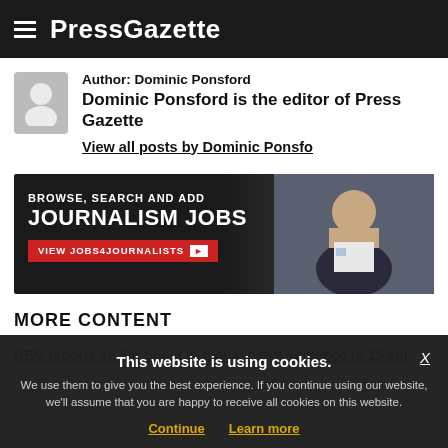PressGazette
Author: Dominic Ponsford
Dominic Ponsford is the editor of Press Gazette
View all posts by Dominic Ponsford
[Figure (infographic): Advertisement banner: BROWSE, SEARCH AND ADD JOURNALISM JOBS — VIEW JOBS4JOURNALISTS button, with photo of a woman on the right]
MORE CONTENT
BBC reports 16.6m boost in global news audience to 25.6m
This website is using cookies. We use them to give you the best experience. If you continue using our website, we'll assume that you are happy to receive all cookies on this website.
Continue   Learn more